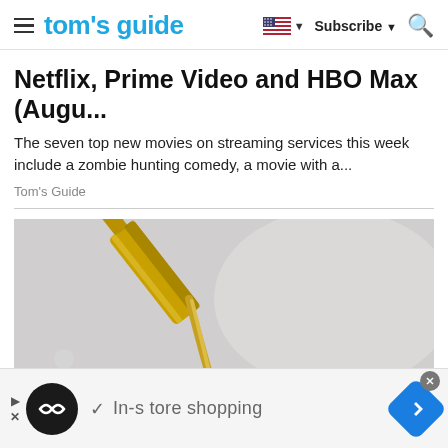tom's guide — Subscribe — Search
Netflix, Prime Video and HBO Max (Augu...
The seven top new movies on streaming services this week include a zombie hunting comedy, a movie with a...
Tom's Guide
[Figure (photo): Close-up photo of a small bottle or dropper dispensing golden/amber liquid onto a green sugar-coated candy gumdrop against a pale grey background.]
In-s tore shopping